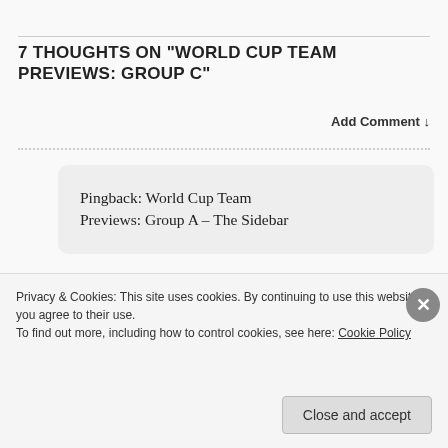7 THOUGHTS ON "WORLD CUP TEAM PREVIEWS: GROUP C"
Add Comment ↓
Pingback: World Cup Team Previews: Group A – The Sidebar
Pingback: World Cup Team Previews: Group B – The Sidebar
Privacy & Cookies: This site uses cookies. By continuing to use this website, you agree to their use.
To find out more, including how to control cookies, see here: Cookie Policy
Close and accept